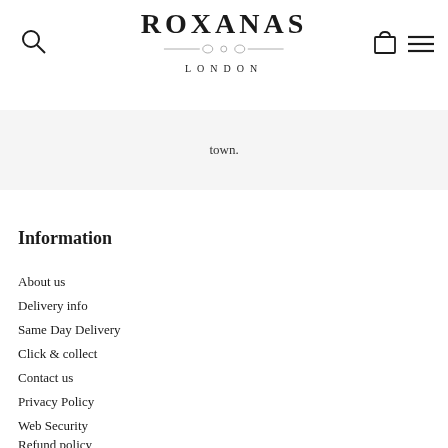ROXANAS LONDON
town.
Information
About us
Delivery info
Same Day Delivery
Click & collect
Contact us
Privacy Policy
Web Security
Refund policy